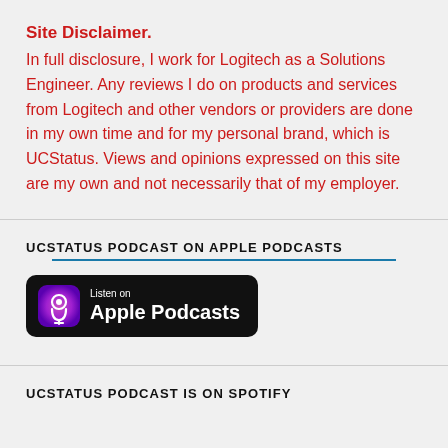Site Disclaimer.
In full disclosure, I work for Logitech as a Solutions Engineer. Any reviews I do on products and services from Logitech and other vendors or providers are done in my own time and for my personal brand, which is UCStatus. Views and opinions expressed on this site are my own and not necessarily that of my employer.
UCSTATUS PODCAST ON APPLE PODCASTS
[Figure (logo): Listen on Apple Podcasts badge — black rounded rectangle with purple podcast icon and white text]
UCSTATUS PODCAST IS ON SPOTIFY